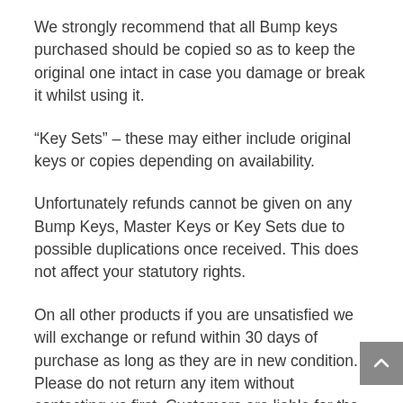We strongly recommend that all Bump keys purchased should be copied so as to keep the original one intact in case you damage or break it whilst using it.
“Key Sets” – these may either include original keys or copies depending on availability.
Unfortunately refunds cannot be given on any Bump Keys, Master Keys or Key Sets due to possible duplications once received. This does not affect your statutory rights.
On all other products if you are unsatisfied we will exchange or refund within 30 days of purchase as long as they are in new condition. Please do not return any item without contacting us first. Customers are liable for the return shipping cost of